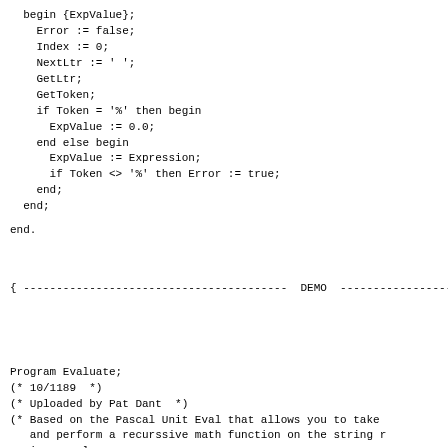begin {ExpValue};
  Error := false;
  Index := 0;
  NextLtr := ' ';
  GetLtr;
  GetToken;
  if Token = '%' then begin
    ExpValue := 0.0;
  end else begin
    ExpValue := Expression;
    if Token <> '%' then Error := true;
  end;
end;
end.
{ ----------------------------------------  DEMO  -----------------
Program Evaluate;
(* 10/1189  *)
(* Uploaded by Pat Dant  *)
(* Based on the Pascal Unit Eval that allows you to take
   and perform a recurssive math function on the string r
   in a real answer.
   This Exe version allows the command line argument to b
   and will print the answer on the screen at the current
(* ExpValue unit is designed by Don McIver in his very we
   SCB Checkbook Program. Currently version 4.2.*)